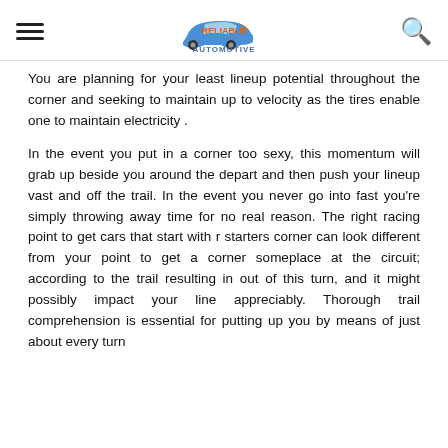Reliable Automotive
You are planning for your least lineup potential throughout the corner and seeking to maintain up to velocity as the tires enable one to maintain electricity .
In the event you put in a corner too sexy, this momentum will grab up beside you around the depart and then push your lineup vast and off the trail. In the event you never go into fast you're simply throwing away time for no real reason. The right racing point to get cars that start with r starters corner can look different from your point to get a corner someplace at the circuit; according to the trail resulting in out of this turn, and it might possibly impact your line appreciably. Thorough trail comprehension is essential for putting up you by means of just about every turn